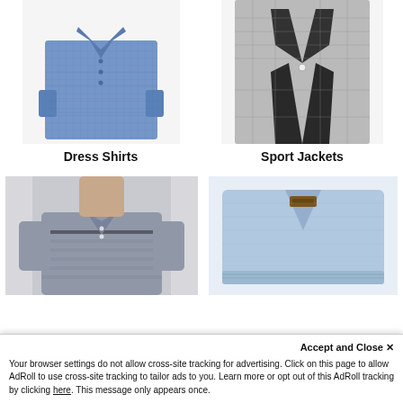[Figure (photo): Blue dress shirt folded, top-left product image]
[Figure (photo): Grey houndstooth sport jacket, top-right product image]
Dress Shirts
Sport Jackets
[Figure (photo): Man wearing grey striped polo shirt, bottom-left product image]
[Figure (photo): Light blue folded sweater, bottom-right product image]
Accept and Close ✕
Your browser settings do not allow cross-site tracking for advertising. Click on this page to allow AdRoll to use cross-site tracking to tailor ads to you. Learn more or opt out of this AdRoll tracking by clicking here. This message only appears once.